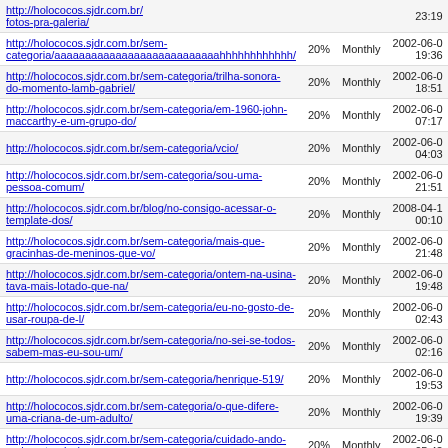| URL | Priority | Change Frequency | Last Changed |
| --- | --- | --- | --- |
| http://holococos.sjdr.com.br/fotos-pra-galeria/ |  |  | 23:19 |
| http://holococos.sjdr.com.br/sem-categoria/aaaaaaaaaaaaaaaaaaaaaaaaaaahhhhhhhhhhhh/ | 20% | Monthly | 2002-06-0 19:36 |
| http://holococos.sjdr.com.br/sem-categoria/trilha-sonora-do-momento-lamb-gabriel/ | 20% | Monthly | 2002-06-0 18:51 |
| http://holococos.sjdr.com.br/sem-categoria/em-1960-john-maccarthy-e-um-grupo-do/ | 20% | Monthly | 2002-06-0 07:17 |
| http://holococos.sjdr.com.br/sem-categoria/vcio/ | 20% | Monthly | 2002-06-0 04:03 |
| http://holococos.sjdr.com.br/sem-categoria/sou-uma-pessoa-comum/ | 20% | Monthly | 2002-06-0 21:51 |
| http://holococos.sjdr.com.br/blog/no-consigo-acessar-o-template-dos/ | 20% | Monthly | 2008-04-1 00:10 |
| http://holococos.sjdr.com.br/sem-categoria/mais-que-gracinhas-de-meninos-que-vo/ | 20% | Monthly | 2002-06-0 21:48 |
| http://holococos.sjdr.com.br/sem-categoria/ontem-na-usina-tava-mais-lotado-que-na/ | 20% | Monthly | 2002-06-0 19:48 |
| http://holococos.sjdr.com.br/sem-categoria/eu-no-gosto-de-usar-roupa-de-l/ | 20% | Monthly | 2002-06-0 02:43 |
| http://holococos.sjdr.com.br/sem-categoria/no-sei-se-todos-sabem-mas-eu-sou-um/ | 20% | Monthly | 2002-06-0 02:16 |
| http://holococos.sjdr.com.br/sem-categoria/henrique-519/ | 20% | Monthly | 2002-06-0 19:53 |
| http://holococos.sjdr.com.br/sem-categoria/o-que-difere-uma-criana-de-um-adulto/ | 20% | Monthly | 2002-06-0 19:39 |
| http://holococos.sjdr.com.br/sem-categoria/cuidado-ando-meio-estranha/ | 20% | Monthly | 2002-06-0 05:42 |
| http://holococos.sjdr.com.br/sem-categoria/estou-indo-pra-casa-do-carlos-pra/ | 20% | Monthly | 2002-06-0 01:13 |
Generated with Google (XML) Sitemaps Generator Plugin for WordPress by Auctollo. This XSLT template is released under the GPL and free to use.
If you have problems with your sitemap please visit the support forum.